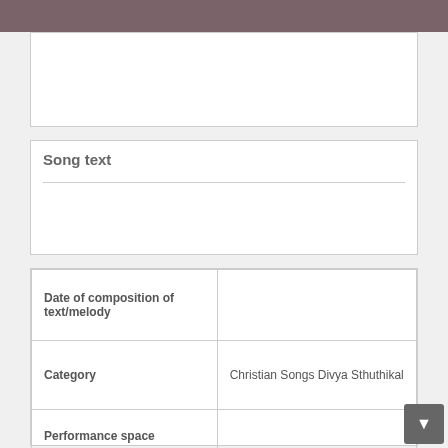[Figure (other): Top gray decorative bar]
| Song text |  |
| --- | --- |
|  |  |
| Date of composition of text/melody |  |
| Category | Christian Songs Divya Sthuthikal |
| Performance space |  |
| Performance context |  |
| Style |  |